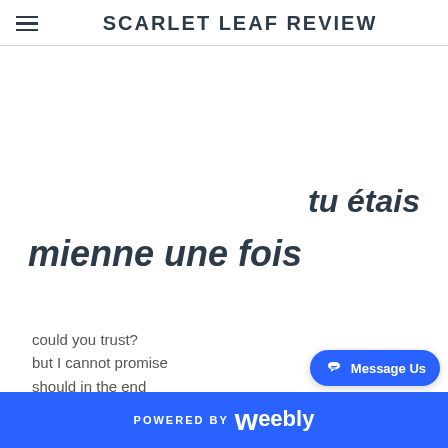SCARLET LEAF REVIEW
tu étais
mienne une fois
could you trust?
but I cannot promise
should in the end
I have been
your adversary
what heartlessness
sometimes performed
POWERED BY weebly